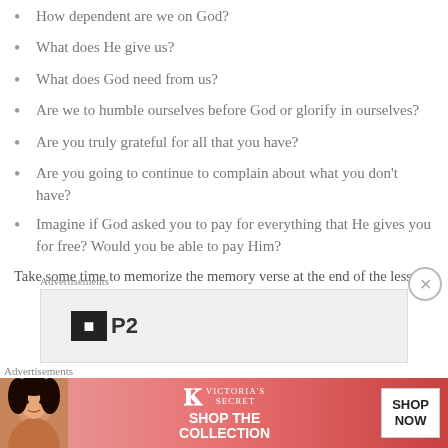How dependent are we on God?
What does He give us?
What does God need from us?
Are we to humble ourselves before God or glorify in ourselves?
Are you truly grateful for all that you have?
Are you going to continue to complain about what you don't have?
Imagine if God asked you to pay for everything that He gives you for free? Would you be able to pay Him?
Take some time to memorize the memory verse at the end of the lesson.
[Figure (other): Advertisements section with P2 logo ad banner]
[Figure (other): Victoria's Secret advertisement banner with model photo, VS logo, SHOP THE COLLECTION text, and SHOP NOW button]